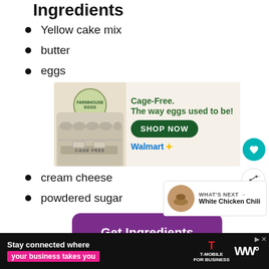Ingredients
Yellow cake mix
butter
eggs
[Figure (photo): Advertisement for Farmhouse Eggs cage-free eggs at Walmart. Shows egg carton with text: Cage-Free. The way eggs used to be! SHOP NOW button. Walmart logo.]
cream cheese
powdered sugar
[Figure (other): Purple 'Get Ingredients' button powered by chicory]
Powered by chicory
[Figure (other): WHAT'S NEXT arrow. White Chicken Chili thumbnail and title.]
[Figure (other): Bottom advertisement: Stay connected where your business takes you. T-Mobile for Business.]